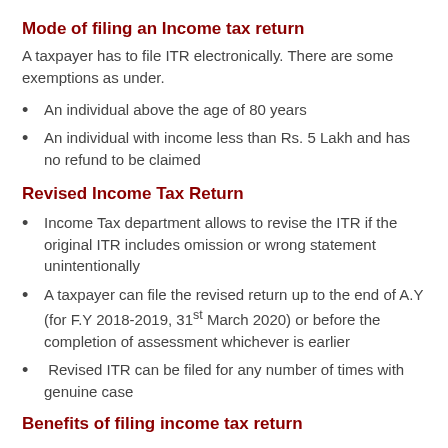Mode of filing an Income tax return
A taxpayer has to file ITR electronically. There are some exemptions as under.
An individual above the age of 80 years
An individual with income less than Rs. 5 Lakh and has no refund to be claimed
Revised Income Tax Return
Income Tax department allows to revise the ITR if the original ITR includes omission or wrong statement unintentionally
A taxpayer can file the revised return up to the end of A.Y (for F.Y 2018-2019, 31st March 2020) or before the completion of assessment whichever is earlier
Revised ITR can be filed for any number of times with genuine case
Benefits of filing income tax return